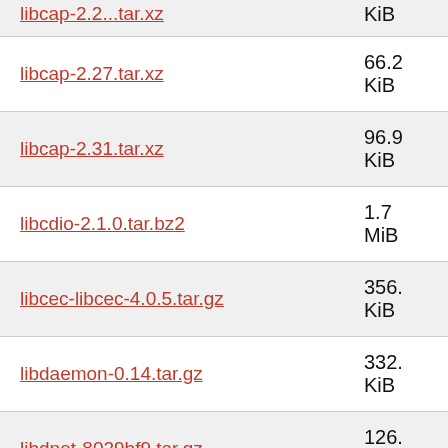libcap-2.27.tar.xz  66.2 KiB
libcap-2.31.tar.xz  96.9 KiB
libcdio-2.1.0.tar.bz2  1.7 MiB
libcec-libcec-4.0.5.tar.gz  356. KiB
libdaemon-0.14.tar.gz  332. KiB
libdnet-8029bf9.tar.gz  126. KiB
libdrm-2.4.100.tar.bz2  835. KiB